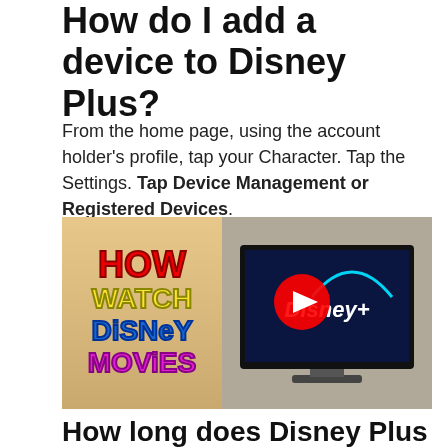How do I add a device to Disney Plus?
From the home page, using the account holder's profile, tap your Character. Tap the Settings. Tap Device Management or Registered Devices.
[Figure (screenshot): Video thumbnail showing 'HOW WATCH DISNEY MOVIES' text on left panel in colorful letters, and a TV screen showing Disney+ logo with a YouTube play button overlay on the right panel.]
How long does Disney Plus